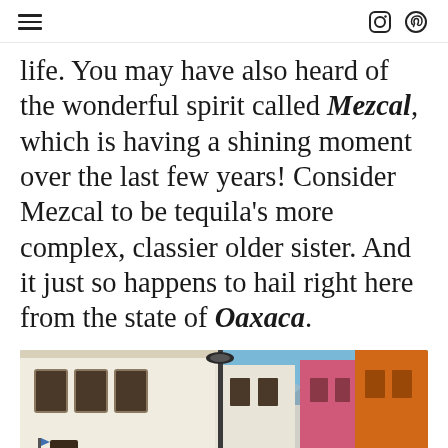[hamburger menu icon] [instagram icon] [pinterest icon]
life. You may have also heard of the wonderful spirit called Mezcal, which is having a shining moment over the last few years! Consider Mezcal to be tequila's more complex, classier older sister. And it just so happens to hail right here from the state of Oaxaca.
[Figure (photo): Street scene in Oaxaca, Mexico showing colonial-style white building facades, a lamp post, colorful pink and orange buildings on the right, blue sky, and mountains in the background.]